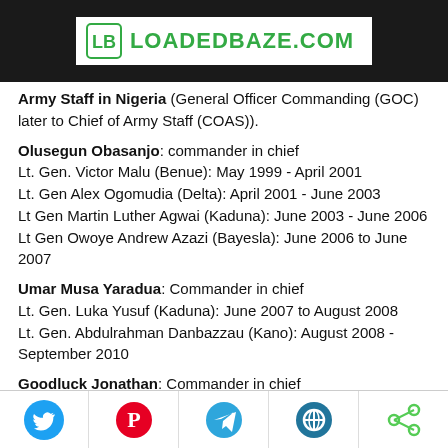LOADEDBAZE.COM
Army Staff in Nigeria (General Officer Commanding (GOC) later to Chief of Army Staff (COAS)).
Olusegun Obasanjo: commander in chief
Lt. Gen. Victor Malu (Benue): May 1999 - April 2001
Lt. Gen Alex Ogomudia (Delta): April 2001 - June 2003
Lt Gen Martin Luther Agwai (Kaduna): June 2003 - June 2006
Lt Gen Owoye Andrew Azazi (Bayesla): June 2006 to June 2007
Umar Musa Yaradua: Commander in chief
Lt. Gen. Luka Yusuf (Kaduna): June 2007 to August 2008
Lt. Gen. Abdulrahman Danbazzau (Kano): August 2008 - September 2010
Goodluck Jonathan: Commander in chief
Social share icons: Twitter, Pinterest, Telegram, WordPress, Share